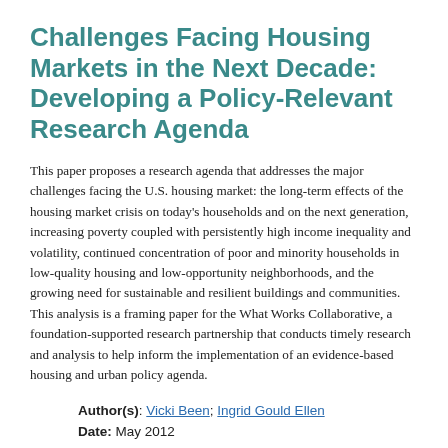Challenges Facing Housing Markets in the Next Decade: Developing a Policy-Relevant Research Agenda
This paper proposes a research agenda that addresses the major challenges facing the U.S. housing market: the long-term effects of the housing market crisis on today’s households and on the next generation, increasing poverty coupled with persistently high income inequality and volatility, continued concentration of poor and minority households in low-quality housing and low-opportunity neighborhoods, and the growing need for sustainable and resilient buildings and communities. This analysis is a framing paper for the What Works Collaborative, a foundation-supported research partnership that conducts timely research and analysis to help inform the implementation of an evidence-based housing and urban policy agenda.
Author(s): Vicki Been; Ingrid Gould Ellen
Date: May 2012
Research Area(s): Climate Resilience; Multifamily...